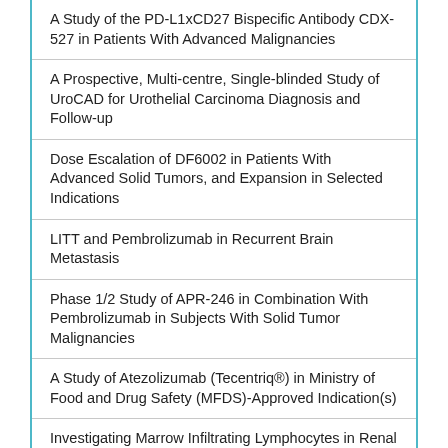| A Study of the PD-L1xCD27 Bispecific Antibody CDX-527 in Patients With Advanced Malignancies |
| A Prospective, Multi-centre, Single-blinded Study of UroCAD for Urothelial Carcinoma Diagnosis and Follow-up |
| Dose Escalation of DF6002 in Patients With Advanced Solid Tumors, and Expansion in Selected Indications |
| LITT and Pembrolizumab in Recurrent Brain Metastasis |
| Phase 1/2 Study of APR-246 in Combination With Pembrolizumab in Subjects With Solid Tumor Malignancies |
| A Study of Atezolizumab (Tecentriq®) in Ministry of Food and Drug Safety (MFDS)-Approved Indication(s) |
| Investigating Marrow Infiltrating Lymphocytes in Renal Cell Carcinoma |
| Intermittent Checkpoint Inhibitor Therapy In Patients With Advanced Urothelial Carcinoma |